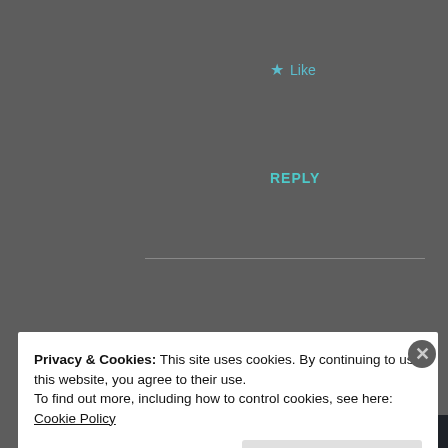★ Like
REPLY
Advertisements
[Figure (screenshot): Advertisement banner with logo and text 'Teach freely' on dark background]
trish
Privacy & Cookies: This site uses cookies. By continuing to use this website, you agree to their use.
To find out more, including how to control cookies, see here: Cookie Policy
Close and accept